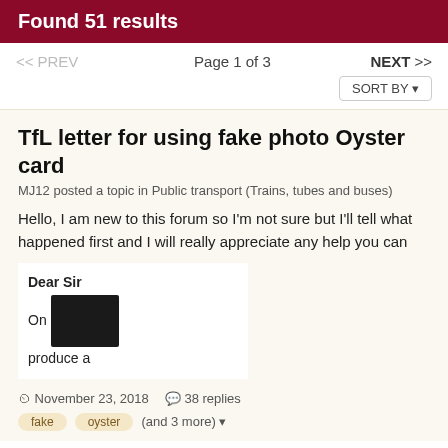Found 51 results
<< PREV   Page 1 of 3   NEXT >>   SORT BY
TfL letter for using fake photo Oyster card
MJ12 posted a topic in Public transport (Trains, tubes and buses)
Hello, I am new to this forum so I'm not sure but I'll tell what happened first and I will really appreciate any help you can
[Figure (screenshot): Partial letter preview showing 'Dear Sir', 'On [redacted block]', 'produce a' with a black redacted area covering part of the text]
November 23, 2018   38 replies
fake   oyster   (and 3 more)